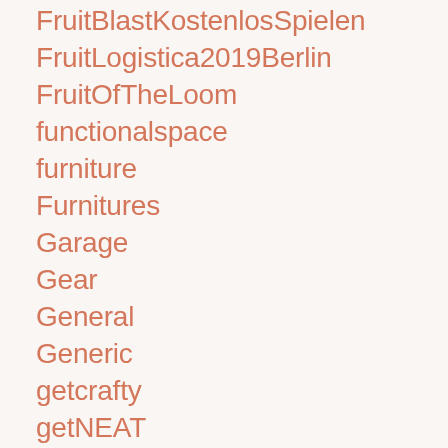FruitBlastKostenlosSpielen
FruitLogistica2019Berlin
FruitOfTheLoom
functionalspace
furniture
Furnitures
Garage
Gear
General
Generic
getcrafty
getNEAT
GetOrganized
gettingcrafty
GettingOrganized